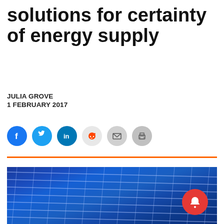solutions for certainty of energy supply
JULIA GROVE
1 FEBRUARY 2017
[Figure (other): Social sharing icons: Facebook, Twitter, LinkedIn, Reddit, Email, Print]
[Figure (photo): Close-up aerial photograph of blue solar panels arranged in a grid pattern]